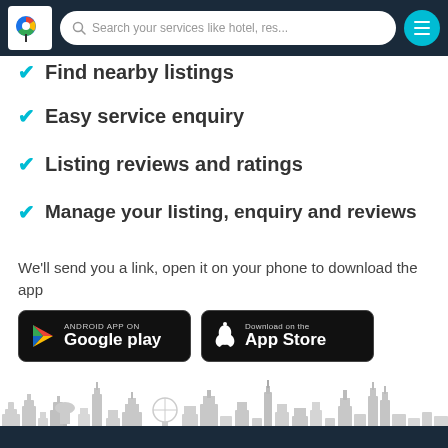Search your services like hotel, res...
Find nearby listings
Easy service enquiry
Listing reviews and ratings
Manage your listing, enquiry and reviews
We'll send you a link, open it on your phone to download the app
[Figure (screenshot): Google Play store badge and Apple App Store badge for downloading the app]
[Figure (illustration): City skyline silhouette in light grey]